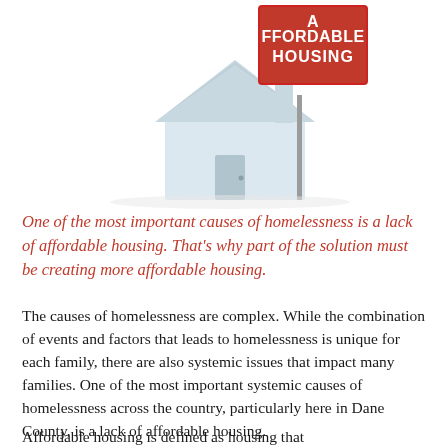[Figure (illustration): A 3D white house model next to a red real-estate sign reading 'AFFORDABLE HOUSING' on a pole, against a white background]
One of the most important causes of homelessness is a lack of affordable housing. That's why part of the solution must be creating more affordable housing.
The causes of homelessness are complex. While the combination of events and factors that leads to homelessness is unique for each family, there are also systemic issues that impact many families. One of the most important systemic causes of homelessness across the country, particularly here in Dane County, is a lack of affordable housing.
Affordable housing is defined as housing that